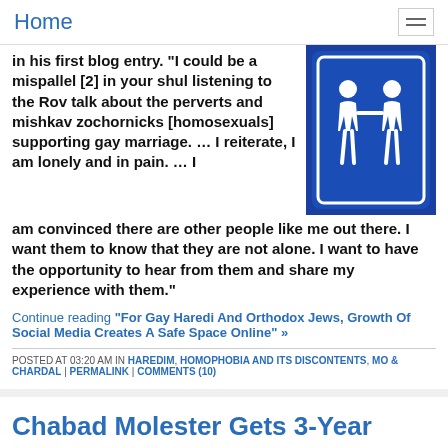Home
in his first blog entry. “I could be a mispallel [2] in your shul listening to the Rov talk about the perverts and mishkav zochornicks [homosexuals] supporting gay marriage. … I reiterate, I am lonely and in pain. … I am convinced there are other people like me out there. I want them to know that they are not alone. I want to have the opportunity to hear from them and share my experience with them.”
[Figure (illustration): Blue sign with two white human figures holding hands, representing same-sex couple, in a rounded rectangle border]
Continue reading "For Gay Haredi And Orthodox Jews, Growth Of Social Media Creates A Safe Space Online" »
POSTED AT 03:20 AM IN HAREDIM, HOMOPHOBIA AND ITS DISCONTENTS, MO & CHARDAL | PERMALINK | COMMENTS (10)
Chabad Molester Gets 3-Year Sentence
Menachem Mendel Levy was
[Figure (photo): Dark/black image, partially visible at bottom right of page]